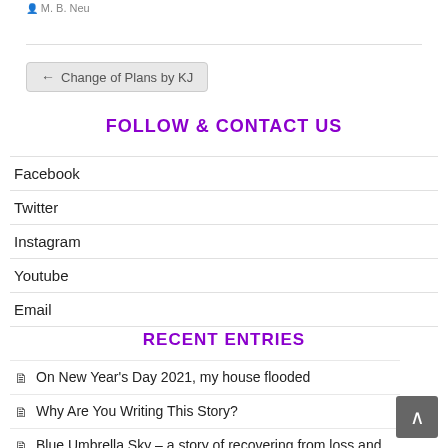M. B. Neu
← Change of Plans by KJ
FOLLOW & CONTACT US
Facebook
Twitter
Instagram
Youtube
Email
RECENT ENTRIES
On New Year's Day 2021, my house flooded
Why Are You Writing This Story?
Blue Umbrella Sky – a story of recovering from loss and finding